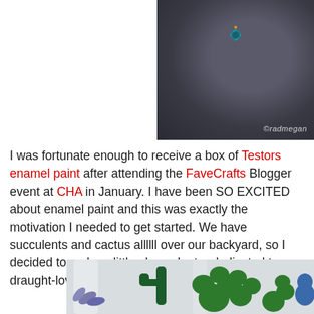[Figure (photo): Top photo showing a dark textured glass vessel/jar with blue decorative painting, watermark ©radmegan in bottom right corner]
I was fortunate enough to receive a box of Testors enamel paint after attending the FaveCrafts Blogger event at CHA in January. I have been SO EXCITED about enamel paint and this was exactly the motivation I needed to get started. We have succulents and cactus allllll over our backyard, so I decided to make a little glass planter dedicated to my draught-loving plant babies.
[Figure (photo): Bottom photo showing a clear glass planter with green 3D cactus/succulent decorations painted on it, resembling round prickly pear cactus shapes in bright green enamel paint]